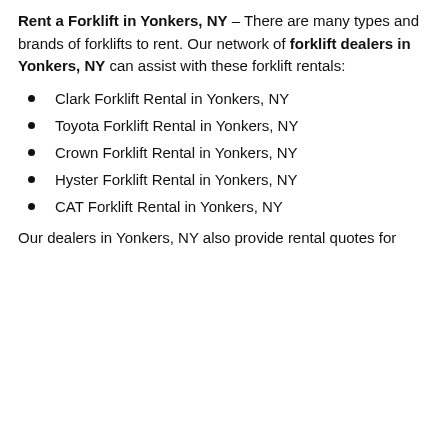Rent a Forklift in Yonkers, NY – There are many types and brands of forklifts to rent. Our network of forklift dealers in Yonkers, NY can assist with these forklift rentals:
Clark Forklift Rental in Yonkers, NY
Toyota Forklift Rental in Yonkers, NY
Crown Forklift Rental in Yonkers, NY
Hyster Forklift Rental in Yonkers, NY
CAT Forklift Rental in Yonkers, NY
Our dealers in Yonkers, NY also provide rental quotes for